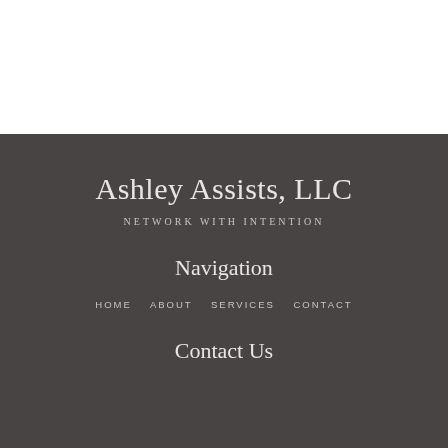Ashley Assists, LLC
NETWORK WITH INTENTION
Navigation
HOME
ABOUT
SERVICES
CONTACT
Contact Us